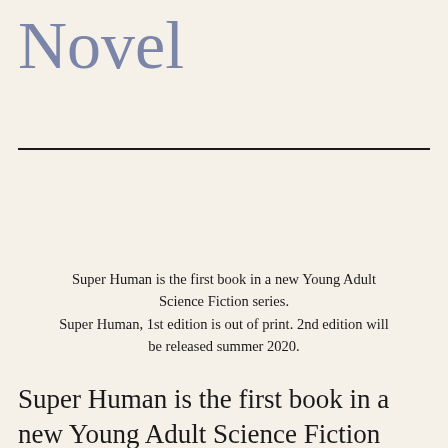Novel
Super Human is the first book in a new Young Adult Science Fiction series.
Super Human, 1st edition is out of print. 2nd edition will be released summer 2020.
Super Human is the first book in a new Young Adult Science Fiction series. Throughout...